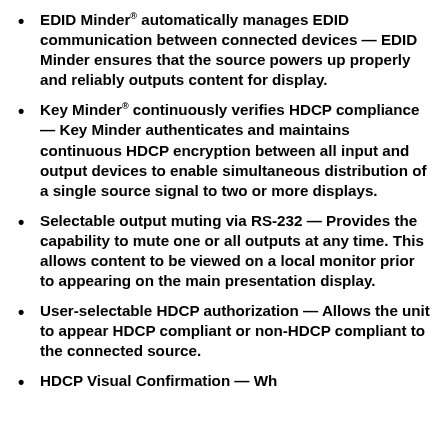EDID Minder® automatically manages EDID communication between connected devices — EDID Minder ensures that the source powers up properly and reliably outputs content for display.
Key Minder® continuously verifies HDCP compliance — Key Minder authenticates and maintains continuous HDCP encryption between all input and output devices to enable simultaneous distribution of a single source signal to two or more displays.
Selectable output muting via RS-232 — Provides the capability to mute one or all outputs at any time. This allows content to be viewed on a local monitor prior to appearing on the main presentation display.
User-selectable HDCP authorization — Allows the unit to appear HDCP compliant or non-HDCP compliant to the connected source.
HDCP Visual Confirmation — Wh...